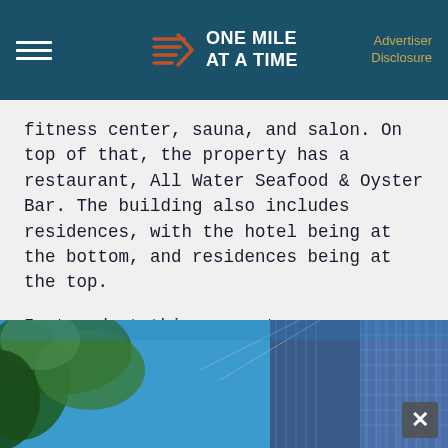ONE MILE AT A TIME | Advertiser Disclosure
fitness center, sauna, and salon. On top of that, the property has a restaurant, All Water Seafood & Oyster Bar. The building also includes residences, with the hotel being at the bottom, and residences being at the top.
I stayed at this property over a decade ago, when it was still independent. I thought the hotel was quite nice, though also somewhat unmemorable. There’s nothing that really stands out about the property, though it is solid.
[Figure (photo): Looking up at tall modern glass skyscraper buildings against a blue sky, with tree foliage visible on the left side.]